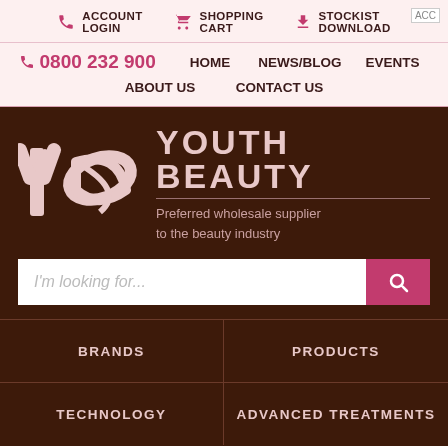ACCOUNT LOGIN | SHOPPING CART | STOCKIST DOWNLOAD
0800 232 900  HOME  NEWS/BLOG  EVENTS  ABOUT US  CONTACT US
[Figure (logo): Youth Beauty logo with YB stylized symbol and text: YOUTH BEAUTY, Preferred wholesale supplier to the beauty industry]
I'm looking for...
BRANDS | PRODUCTS | TECHNOLOGY | ADVANCED TREATMENTS